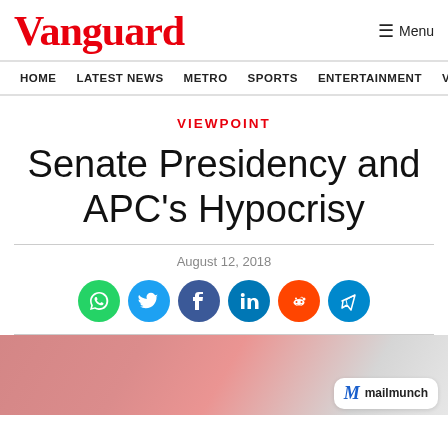Vanguard
HOME   LATEST NEWS   METRO   SPORTS   ENTERTAINMENT   VIDEOS
VIEWPOINT
Senate Presidency and APC's Hypocrisy
August 12, 2018
[Figure (infographic): Social share buttons: WhatsApp (green), Twitter (blue), Facebook (dark blue), LinkedIn (blue), Reddit (orange), Telegram (light blue)]
[Figure (photo): Article header image partially visible at bottom with mailmunch badge overlay]